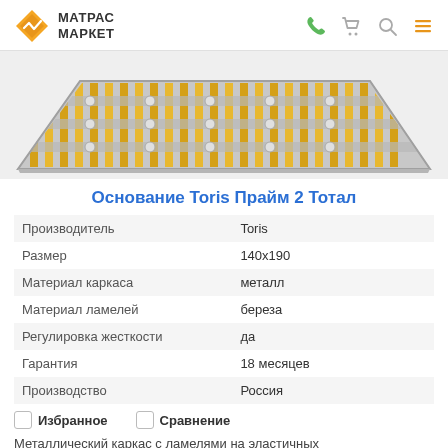МАТРАС МАРКЕТ
[Figure (photo): Product photo of Toris Prime 2 Total bed slat base with metal frame and birch lamellas on elastic holders, viewed at an angle]
Основание Toris Прайм 2 Тотал
| Производитель | Toris |
| Размер | 140х190 |
| Материал каркаса | металл |
| Материал ламелей | береза |
| Регулировка жесткости | да |
| Гарантия | 18 месяцев |
| Производство | Россия |
Избранное    Сравнение
Металлический каркас с ламелями на эластичных